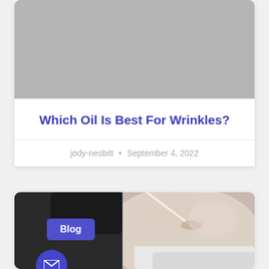[Figure (photo): Gray placeholder image at top of first card]
Which Oil Is Best For Wrinkles?
jody-nesbitt • September 4, 2022
[Figure (photo): Photo of a woman receiving a facial treatment with needles/applicators, with a Blog tag overlay and email button]
Blog